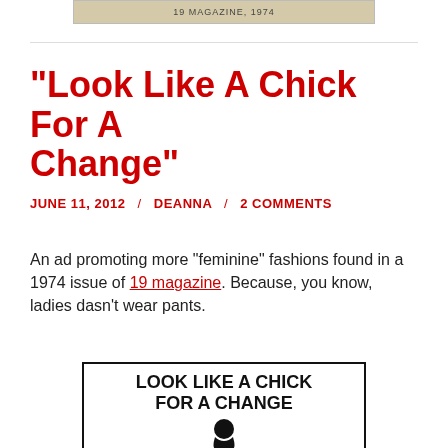[Figure (photo): Partial image of a vintage magazine cover or banner at the top of the page, showing text on a tan/aged background]
“Look Like A Chick For A Change”
JUNE 11, 2012 / DEANNA / 2 COMMENTS
An ad promoting more “feminine” fashions found in a 1974 issue of 19 magazine. Because, you know, ladies dasn’t wear pants.
[Figure (photo): Vintage advertisement image with bold text reading LOOK LIKE A CHICK FOR A CHANGE with a silhouette of a person's head below]